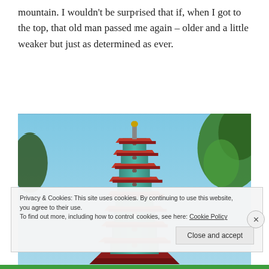mountain. I wouldn't be surprised that if, when I got to the top, that old man passed me again – older and a little weaker but just as determined as ever.
[Figure (photo): Photograph of a multi-tiered Chinese pagoda tower with teal/turquoise and red decorative tiling, photographed from below against a clear blue sky, with green trees visible on the right edge.]
Privacy & Cookies: This site uses cookies. By continuing to use this website, you agree to their use.
To find out more, including how to control cookies, see here: Cookie Policy